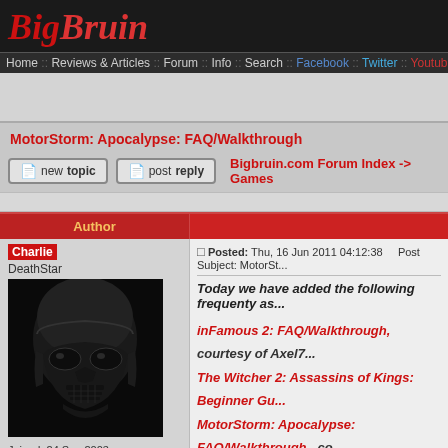BigBruin
Home :: Reviews & Articles :: Forum :: Info :: Search :: Facebook :: Twitter :: Youtube
[Figure (screenshot): Advertisement banner area (gray)]
MotorStorm: Apocalypse: FAQ/Walkthrough
new topic   post reply   Bigbruin.com Forum Index -> Games
| Author |  |
| --- | --- |
| Charlie
DeathStar
Joined: 24 Sep 2003
Posts: 10801
Location: Orlando, FL | Posted: Thu, 16 Jun 2011 04:12:38   Post Subject: MotorSt...

Today we have added the following frequenty as...

inFamous 2: FAQ/Walkthrough, courtesy of Axel7...
The Witcher 2: Assassins of Kings: Beginner Gu...
MotorStorm: Apocalypse: FAQ/Walkthrough , co...
Fallout: New Vegas: Item Crafting Guide , courtes...

GamersHell |
[Figure (screenshot): Game screenshot showing UI with LEFT, VU, RIGHT labels on dark background]